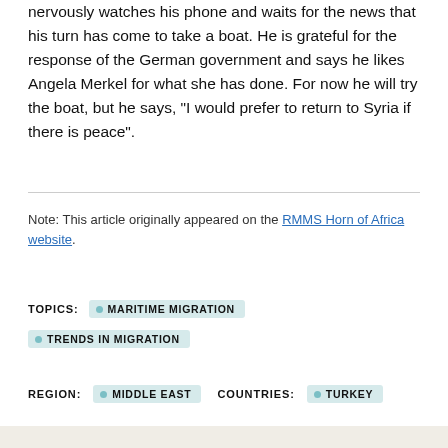nervously watches his phone and waits for the news that his turn has come to take a boat. He is grateful for the response of the German government and says he likes Angela Merkel for what she has done. For now he will try the boat, but he says, "I would prefer to return to Syria if there is peace".
Note: This article originally appeared on the RMMS Horn of Africa website.
TOPICS: MARITIME MIGRATION TRENDS IN MIGRATION
REGION: MIDDLE EAST COUNTRIES: TURKEY